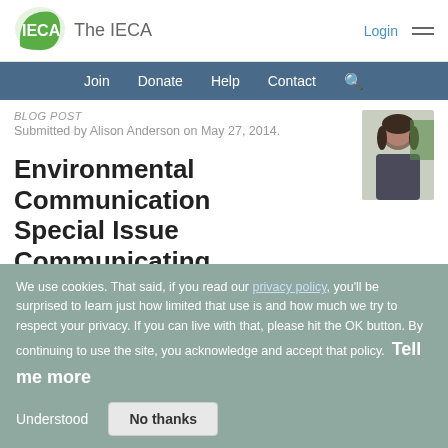[Figure (logo): IECA logo: green leaf shape with white IECA text]
The IECA
Join  Donate  Help  Contact
BLOG POST
Submitted by Alison Anderson on May 27, 2014.
[Figure (photo): Photo of Alison Anderson, a woman with dark hair]
Environmental Communication Special Issue Communicating Hydrofracking
Deadline 5th January 2015
Read more
We use cookies. That said, if you read our privacy policy, you'll be surprised to learn just how limited that use is and how much we try to respect your privacy. If you can live with that, please hit the OK button. By continuing to use the site, you acknowledge and accept that policy. Tell me more
Understood   No thanks